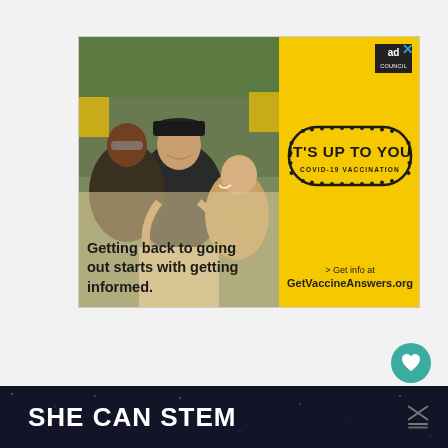[Figure (infographic): Ad banner: left side shows a crowd of happy people outdoors (photo), right side is yellow with 'IT'S UP TO YOU COVID-19 VACCINATION' stamp badge. Text overlay: 'Getting back to going out starts with getting informed.' Bottom right: '> Get info at GetVaccineAnswers.org'. Top right corner shows 'ad council' logo and X close button.]
[Figure (infographic): Teal circular button with heart icon (favorite/like)]
[Figure (infographic): White circular share button with share icon]
SHE CAN STEM